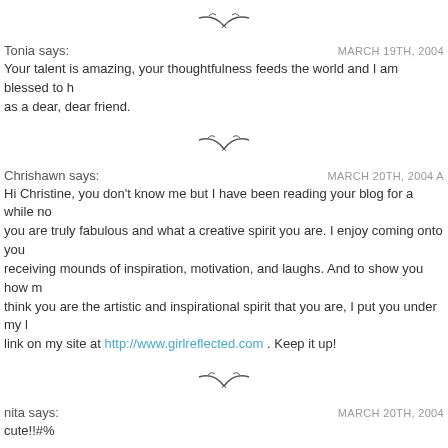[Figure (illustration): Small bird/seagull divider icon]
Tonia says:
MARCH 19TH, 2004
Your talent is amazing, your thoughtfulness feeds the world and I am blessed to have you as a dear, dear friend.
[Figure (illustration): Small bird/seagull divider icon]
Chrishawn says:
MARCH 20TH, 2004 A
Hi Christine, you don't know me but I have been reading your blog for a while now... you are truly fabulous and what a creative spirit you are. I enjoy coming onto your... receiving mounds of inspiration, motivation, and laughs. And to show you how mu... think you are the artistic and inspirational spirit that you are, I put you under my li... link on my site at http://www.girlreflected.com . Keep it up!
[Figure (illustration): Small bird/seagull divider icon]
nita says:
MARCH 20TH, 2004
cute!!#%
[Figure (illustration): Small bird/seagull divider icon]
Elaine says:
MARCH 20TH, 2004
Love it!
[Figure (illustration): Small bird/seagull divider icon]
Marina says:
MARCH 20TH, 2004